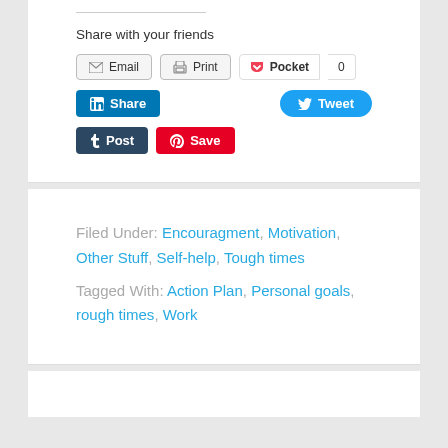Share with your friends
[Figure (screenshot): Social sharing buttons: Email, Print, Pocket (0), LinkedIn Share, Tweet, Tumblr Post, Pinterest Save]
Filed Under: Encouragment, Motivation, Other Stuff, Self-help, Tough times
Tagged With: Action Plan, Personal goals, rough times, Work